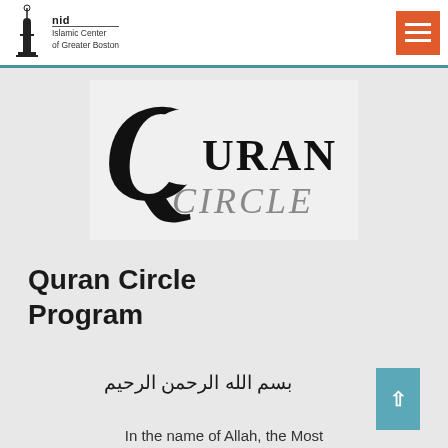Islamic Center of Greater Boston — Quran Circle Program
[Figure (logo): Quran Circle logo — large decorative Q with 'URAN' in serif text and 'CIRCLE' in silver text below]
Quran Circle Program
بسم الله الرحمن الرحيم
In the name of Allah, the Most